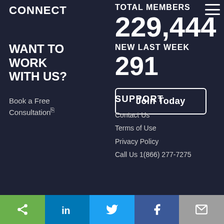CONNECT
TOTAL MEMBERS
229,444
NEW LAST WEEK
291
Join Today
WANT TO WORK WITH US?
Book a Free Consultation
SUPPORT
Contact Us
Terms of Use
Privacy Policy
Call Us 1(866) 277-7275
[Figure (other): Social sharing bar with icons: share, LinkedIn, Twitter, Facebook, Email]